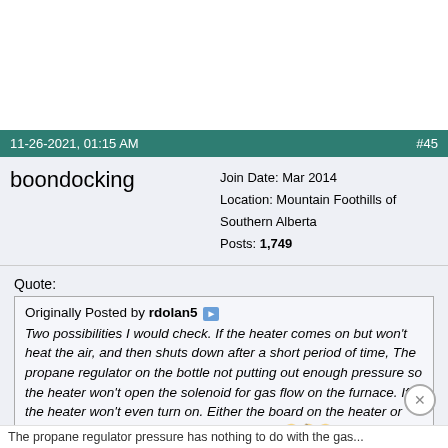11-26-2021, 01:15 AM  #45
boondocking
Join Date: Mar 2014
Location: Mountain Foothills of Southern Alberta
Posts: 1,749
Quote:
Originally Posted by rdolan5
Two possibilities I would check. If the heater comes on but won't heat the air, and then shuts down after a short period of time, The propane regulator on the bottle not putting out enough pressure so the heater won't open the solenoid for gas flow on the furnace. If the heater won't even turn on. Either the board on the heater or time for a new thermostat inside the trailer.
The propane regulator pressure has nothing to do with the gas...